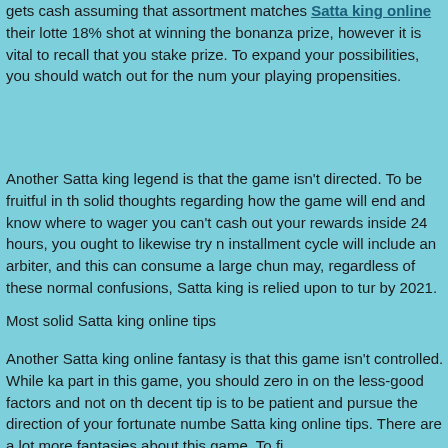gets cash assuming that assortment matches Satta king online their lotte 18% shot at winning the bonanza prize, however it is vital to recall that you stake prize. To expand your possibilities, you should watch out for the num your playing propensities.
Another Satta king legend is that the game isn't directed. To be fruitful in th solid thoughts regarding how the game will end and know where to wager you can't cash out your rewards inside 24 hours, you ought to likewise try n installment cycle will include an arbiter, and this can consume a large chun may, regardless of these normal confusions, Satta king is relied upon to tur by 2021.
Most solid Satta king online tips
Another Satta king online fantasy is that this game isn't controlled. While ka part in this game, you should zero in on the less-good factors and not on th decent tip is to be patient and pursue the direction of your fortunate numbe Satta king online tips. There are a lot more fantasies about this game. To fi
The Satta king game isn't controlled. Nonetheless, players ought to have s the game will end prior to settling on their choices. They ought to likewise k can't cash out their rewards right away. Since winning requires an extensiv is probably not going to be managed as long as possible. This is a fantasy from. While it is feasible to win the lottery, you should have the opportunity